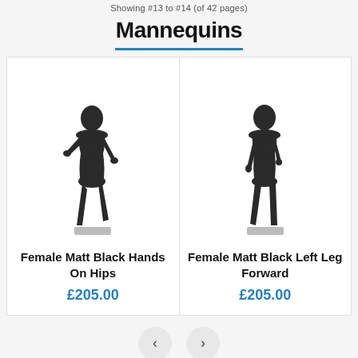Showing #13 to #14 (of 42 pages)
Mannequins
[Figure (photo): Photo of a female matt black mannequin with hands on hips, standing on a square base]
Female Matt Black Hands On Hips
£205.00
[Figure (photo): Photo of a female matt black mannequin with left leg forward, standing on a square base]
Female Matt Black Left Leg Forward
£205.00